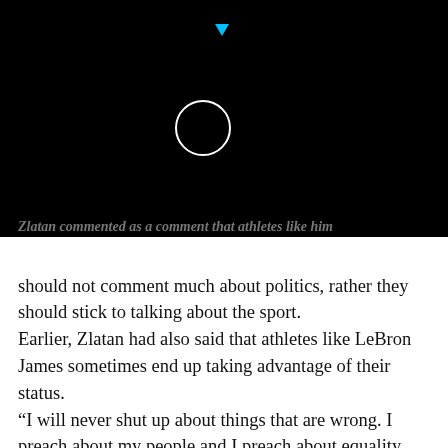[Figure (screenshot): Black background with white circle outline (loading spinner) and small cyan/blue downward-pointing triangle arrow at top center]
should not comment much about politics, rather they should stick to talking about the sport. Earlier, Zlatan had also said that athletes like LeBron James sometimes end up taking advantage of their status. “I will never shut up about things that are wrong. I preach about my people and I preach about equality. Social injustice, racism, systematic voter suppression, things that go on in our community,” Goal.com quoted LeBron James as saying. “I was part of my community, I’ve seen the things that are going on. I have a group of 300-plus kids in my school that are going through the same thing and they need a voice. I am their voice and I use my platform to shed light